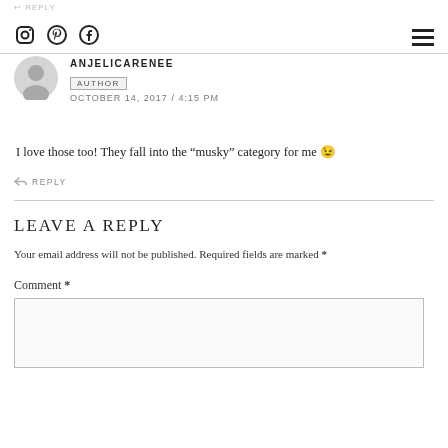↩ REPLY | social icons: Instagram, Pinterest, Facebook | hamburger menu
ANJELICARENEE
AUTHOR
OCTOBER 14, 2017 / 4:15 PM
I love those too! They fall into the “musky” category for me 😊
↩ REPLY
LEAVE A REPLY
Your email address will not be published. Required fields are marked *
Comment *